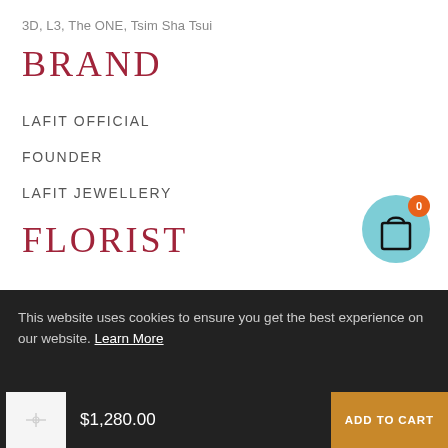3D, L3, The ONE, Tsim Sha Tsui
BRAND
LAFIT OFFICIAL
FOUNDER
LAFIT JEWELLERY
[Figure (other): Shopping cart icon button, teal/cyan circular background with orange badge showing count 0]
FLORIST
This website uses cookies to ensure you get the best experience on our website. Learn More
$1,280.00
ADD TO CART